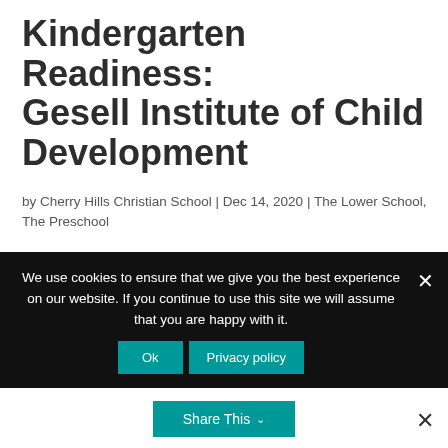Kindergarten Readiness: Gesell Institute of Child Development
by Cherry Hills Christian School | Dec 14, 2020 | The Lower School, The Preschool
[Figure (illustration): Faint watermark-style text reading 'Gesell at Yale' in light gray italic font, partially visible behind content]
We use cookies to ensure that we give you the best experience on our website. If you continue to use this site we will assume that you are happy with it.
Ok   Privacy policy
Share This